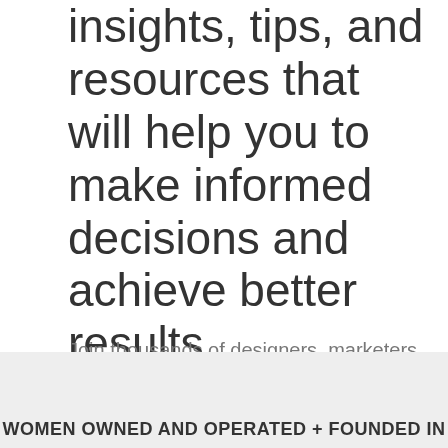insights, tips, and resources that will help you to make informed decisions and achieve better results.
Join thousands of designers, marketers and business leaders who receive notifications when we've published new design, inbound, and other digital resources. We publish less than once per week and you can unsubscribe anytime.
WOMEN OWNED AND OPERATED + FOUNDED IN